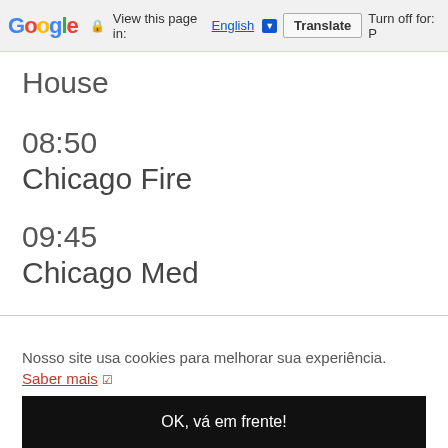Google — View this page in: English ▼ Translate Turn off for: P
House
08:50
Chicago Fire
09:45
Chicago Med
Nosso site usa cookies para melhorar sua experiência. Saber mais ↗
OK, vá em frente!